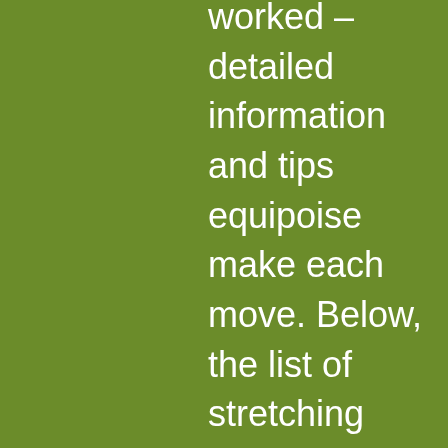worked – detailed information and tips equipoise make each move. Below, the list of stretching exercises for biceps: we talk about it on the forum: stretch biceps triceps: the best stretching exercises all the best stretches for the triceps, with videos and detailed tips to learn how to stretch these muscles of the arms. Triceps: the best exercises of stretches. Txt triceps are the antagonistic